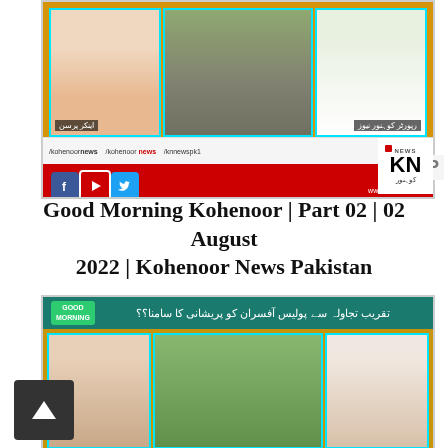[Figure (screenshot): TV broadcast screenshot of Kohenoor News morning show with anchor on left, road scene in center, reporter on right, and social media bar with Facebook, YouTube, Twitter icons and KN News logo at bottom]
Good Morning Kohenoor | Part 02 | 02 August 2022 | Kohenoor News Pakistan
[Figure (screenshot): TV broadcast screenshot of Good Morning show with Urdu headline banner at top, female anchor on left, outdoor scene in center, male guest on right]